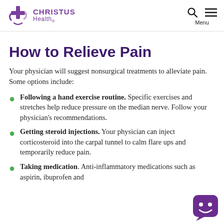CHRISTUS Health
How to Relieve Pain
Your physician will suggest nonsurgical treatments to alleviate pain. Some options include:
Following a hand exercise routine. Specific exercises and stretches help reduce pressure on the median nerve. Follow your physician's recommendations.
Getting steroid injections. Your physician can inject corticosteroid into the carpal tunnel to calm flare ups and temporarily reduce pain.
Taking medication. Anti-inflammatory medications such as aspirin, ibuprofen and